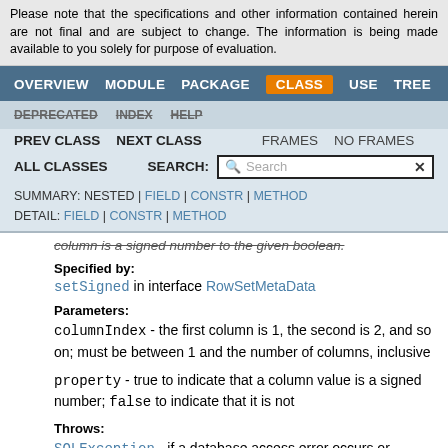Please note that the specifications and other information contained herein are not final and are subject to change. The information is being made available to you solely for purpose of evaluation.
OVERVIEW MODULE PACKAGE CLASS USE TREE
DEPRECATED INDEX HELP
PREV CLASS  NEXT CLASS    FRAMES  NO FRAMES
ALL CLASSES   SEARCH:
SUMMARY: NESTED | FIELD | CONSTR | METHOD  DETAIL: FIELD | CONSTR | METHOD
column is a signed number to the given boolean.
Specified by:
setSigned in interface RowSetMetaData
Parameters:
columnIndex - the first column is 1, the second is 2, and so on; must be between 1 and the number of columns, inclusive
property - true to indicate that a column value is a signed number; false to indicate that it is not
Throws:
SQLException - if a database access error occurs or